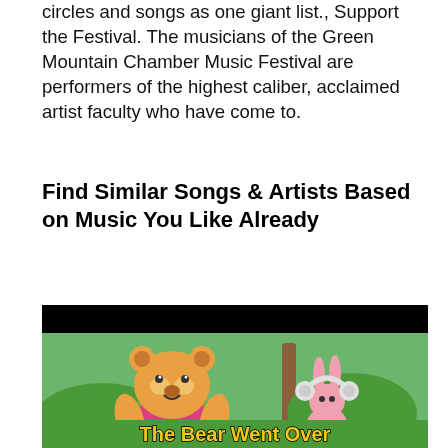circles and songs as one giant list., Support the Festival. The musicians of the Green Mountain Chamber Music Festival are performers of the highest caliber, acclaimed artist faculty who have come to.
Find Similar Songs & Artists Based on Music You Like Already
[Figure (illustration): Children's book style illustration showing a Winnie-the-Pooh-like bear character in a red/pink shirt with a pink bunny character wearing headphones, set against a green background. Text at bottom reads 'The Bear Went Over']